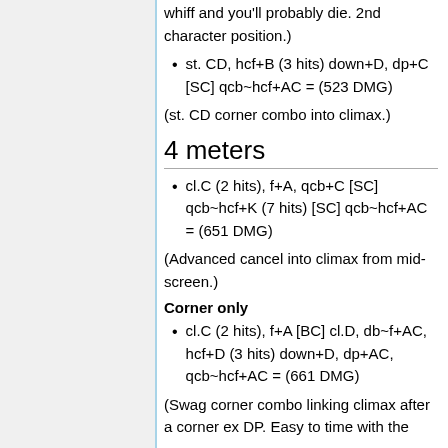whiff and you'll probably die. 2nd character position.)
st. CD, hcf+B (3 hits) down+D, dp+C [SC] qcb~hcf+AC = (523 DMG)
(st. CD corner combo into climax.)
4 meters
cl.C (2 hits), f+A, qcb+C [SC] qcb~hcf+K (7 hits) [SC] qcb~hcf+AC = (651 DMG)
(Advanced cancel into climax from mid-screen.)
Corner only
cl.C (2 hits), f+A [BC] cl.D, db~f+AC, hcf+D (3 hits) down+D, dp+AC, qcb~hcf+AC = (661 DMG)
(Swag corner combo linking climax after a corner ex DP. Easy to time with the